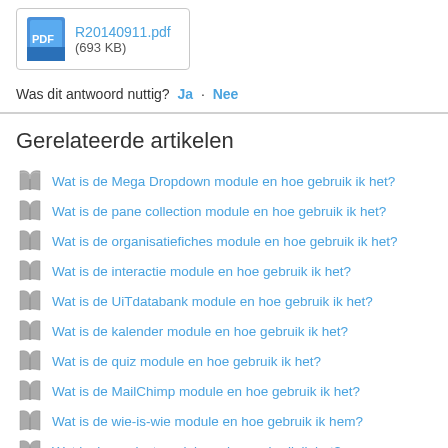[Figure (other): PDF file attachment box showing R20140911.pdf (693 KB) with a blue PDF icon]
Was dit antwoord nuttig? Ja · Nee
Gerelateerde artikelen
Wat is de Mega Dropdown module en hoe gebruik ik het?
Wat is de pane collection module en hoe gebruik ik het?
Wat is de organisatiefiches module en hoe gebruik ik het?
Wat is de interactie module en hoe gebruik ik het?
Wat is de UiTdatabank module en hoe gebruik ik het?
Wat is de kalender module en hoe gebruik ik het?
Wat is de quiz module en hoe gebruik ik het?
Wat is de MailChimp module en hoe gebruik ik het?
Wat is de wie-is-wie module en hoe gebruik ik hem?
Wat is de product module en hoe gebruik ik het?